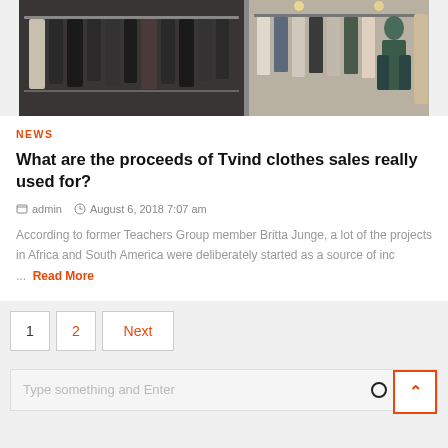[Figure (photo): Interior of a clothing store with garments hanging on racks. Left side shows dark-colored coats and jackets on a horizontal bar. Right side shows a brighter area with more clothing racks and a person browsing.]
NEWS
What are the proceeds of Tvind clothes sales really used for?
admin   August 6, 2018 7:07 am
According to former Teachers Group member Britta Junge, a lot of the projects in Africa and South America were deliberately started as a source of inc ...  Read More
1
2
Next
Type something and Enter